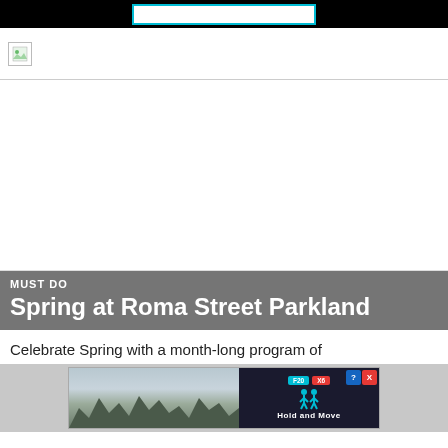[Figure (screenshot): Website screenshot showing logo/header area with broken image icon]
[Figure (photo): Large main photograph area (blank/white, image not loaded)]
MUST DO
Spring at Roma Street Parkland
Celebrate Spring with a month-long program of
[Figure (screenshot): Advertisement banner: Hold and Move app ad with figure icon and tree/forest imagery]